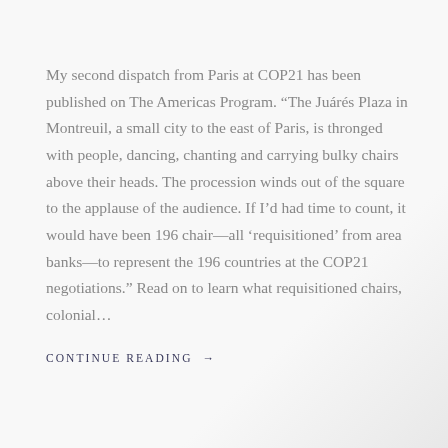My second dispatch from Paris at COP21 has been published on The Americas Program. “The Juárés Plaza in Montreuil, a small city to the east of Paris, is thronged with people, dancing, chanting and carrying bulky chairs above their heads. The procession winds out of the square to the applause of the audience. If I’d had time to count, it would have been 196 chair—all ‘requisitioned’ from area banks—to represent the 196 countries at the COP21 negotiations.” Read on to learn what requisitioned chairs, colonial…
CONTINUE READING →